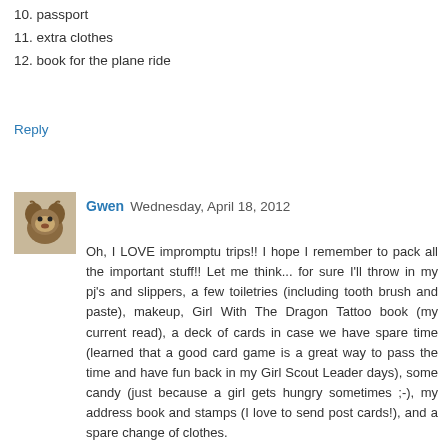10. passport
11. extra clothes
12. book for the plane ride
Reply
Gwen  Wednesday, April 18, 2012
Oh, I LOVE impromptu trips!! I hope I remember to pack all the important stuff!! Let me think... for sure I'll throw in my pj's and slippers, a few toiletries (including tooth brush and paste), makeup, Girl With The Dragon Tattoo book (my current read), a deck of cards in case we have spare time (learned that a good card game is a great way to pass the time and have fun back in my Girl Scout Leader days), some candy (just because a girl gets hungry sometimes ;-), my address book and stamps (I love to send post cards!), and a spare change of clothes.

I'm SO excited!! Can't wait to see where we're going!!!
Reply